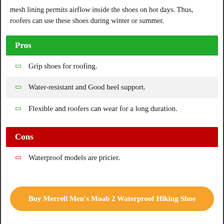mesh lining permits airflow inside the shoes on hot days. Thus, roofers can use these shoes during winter or summer.
Pros
Grip shoes for roofing.
Water-resistant and Good heel support.
Flexible and roofers can wear for a long duration.
Cons
Waterproof models are pricier.
Buy Merrell Men's Moab 2 Waterproof Hiking Shoe